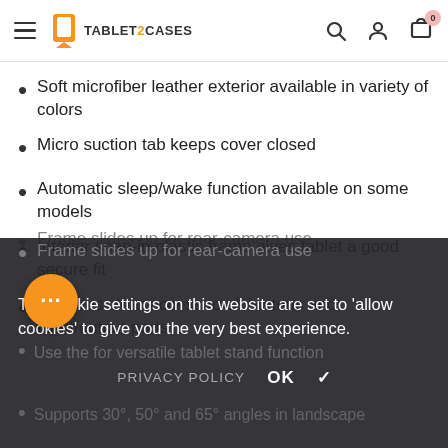TABLET2CASES — navigation header with hamburger menu, logo, search, user, and cart (0) icons
Soft microfiber leather exterior available in variety of colors
Micro suction tab keeps cover closed
Automatic sleep/wake function available on some models
Interior snap-in plastic frame gives tablet a good secure fit
Provides clear access to all buttons and input/output ports
Frame slides up for rear-camera use
Use the for versatile tablet stand function
Supports 30°, 50° and 65° angles in landscape
The cookie settings on this website are set to 'allow cookies' to give you the very best experience.
PRIVACY POLICY   OK ✓